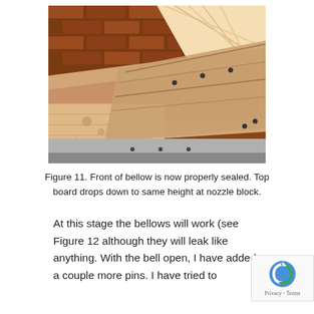[Figure (photo): Photograph showing the front of a bellows assembly. Wooden boards and folded leather/fabric material are visible. A brick wall is in the background. Small metal pins/holes are visible along the edges of the bellows material.]
Figure 11. Front of bellow is now properly sealed. Top board drops down to same height at nozzle block.
At this stage the bellows will work (see Figure 12 although they will leak like anything. With the bell open, I have added a couple more pins. I have tried to